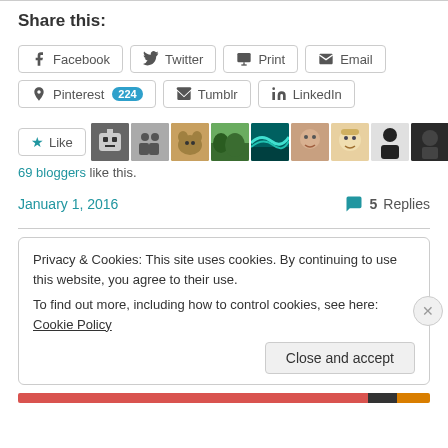Share this:
Facebook  Twitter  Print  Email  Pinterest 224  Tumblr  LinkedIn
[Figure (screenshot): Like button with star icon followed by a strip of 10 blogger avatar thumbnails and a plus icon]
69 bloggers like this.
January 1, 2016   5 Replies
Privacy & Cookies: This site uses cookies. By continuing to use this website, you agree to their use. To find out more, including how to control cookies, see here: Cookie Policy
Close and accept